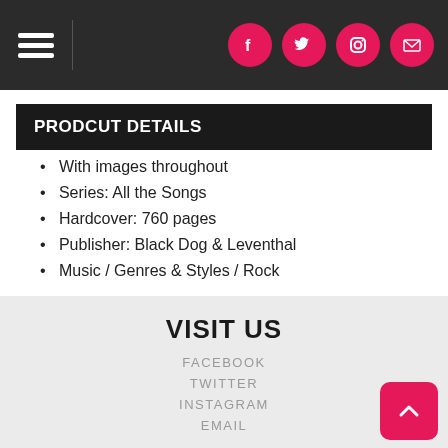Navigation bar with hamburger menu and social icons (Facebook, Twitter, Instagram, Email)
PRODCUT DETAILS
With images throughout
Series: All the Songs
Hardcover: 760 pages
Publisher: Black Dog & Leventhal
Music / Genres & Styles / Rock
VISIT US
FACEBOOK
TWITTER
INSTAGRAM
EMAIL